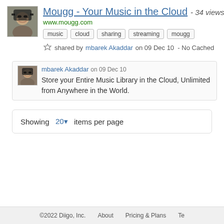Mougg - Your Music in the Cloud - 34 views
www.mougg.com
music  cloud  sharing  streaming  mougg
shared by mbarek Akaddar on 09 Dec 10  - No Cached
mbarek Akaddar on 09 Dec 10
Store your Entire Music Library in the Cloud, Unlimited from Anywhere in the World.
Showing 20▾ items per page
©2022 Diigo, Inc.    About    Pricing & Plans    Te